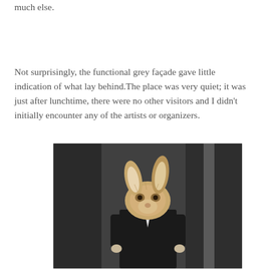much else.
Not surprisingly, the functional grey façade gave little indication of what lay behind.The place was very quiet; it was just after lunchtime, there were no other visitors and I didn't initially encounter any of the artists or organizers.
[Figure (photo): A figure wearing a rabbit/hare mask and formal dark suit, standing in front of dark curtains or drapes. Black and white style photo with brown tones on the animal mask.]